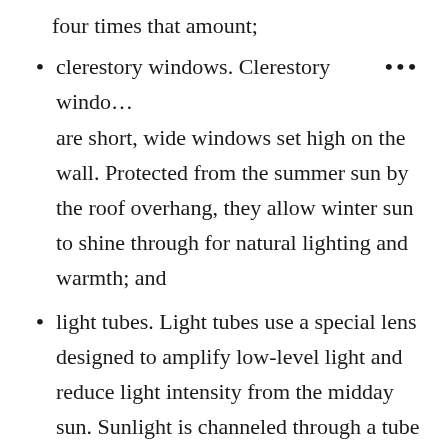four times that amount;
clerestory windows. Clerestory windows are short, wide windows set high on the wall. Protected from the summer sun by the roof overhang, they allow winter sun to shine through for natural lighting and warmth; and
light tubes. Light tubes use a special lens designed to amplify low-level light and reduce light intensity from the midday sun. Sunlight is channeled through a tube coated with a highly reflective material,